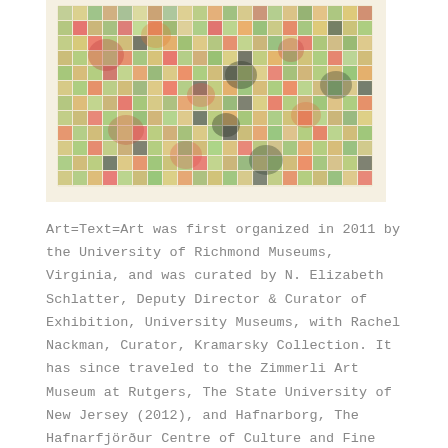[Figure (photo): A colorful grid artwork showing numbered squares filled with watercolor washes in greens, yellows, reds, oranges, and other colors, on aged paper.]
Art=Text=Art was first organized in 2011 by the University of Richmond Museums, Virginia, and was curated by N. Elizabeth Schlatter, Deputy Director & Curator of Exhibition, University Museums, with Rachel Nackman, Curator, Kramarsky Collection. It has since traveled to the Zimmerli Art Museum at Rutgers, The State University of New Jersey (2012), and Hafnarborg, The Hafnarfjörður Centre of Culture and Fine Art, Iceland, as part of the Reykjavík Arts Festival (2013).
The artworks in its current installation are drawn largely from the Sally & Wynn Kramarsky Collection, with additional loans from The Museum of Modern Art, New York, the Brooklyn